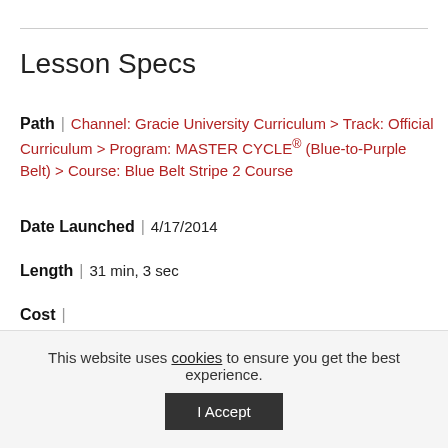Lesson Specs
Path | Channel: Gracie University Curriculum > Track: Official Curriculum > Program: MASTER CYCLE® (Blue-to-Purple Belt) > Course: Blue Belt Stripe 2 Course
Date Launched | 4/17/2014
Length | 31 min, 3 sec
Cost |
Status | Active
Code | LS-00000738
This website uses cookies to ensure you get the best experience. I Accept